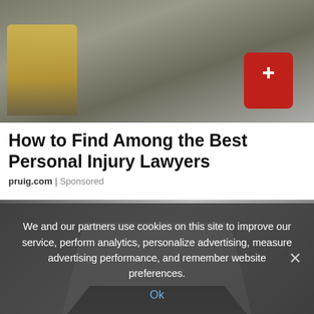[Figure (photo): Overhead view of a first-aid responder in high-visibility vest treating an injured person on the ground, with a red medical bag nearby]
How to Find Among the Best Personal Injury Lawyers
pruig.com | Sponsored
[Figure (photo): Grayscale photo showing a reflective geometric box or diamond shape on a wooden floor background, with dark shadow beneath]
We and our partners use cookies on this site to improve our service, perform analytics, personalize advertising, measure advertising performance, and remember website preferences.
Ok